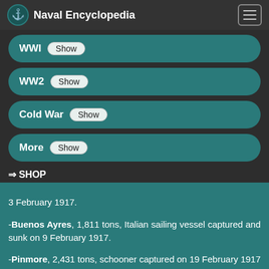Naval Encyclopedia
WWI Show
WW2 Show
Cold War Show
More Show
⇒ SHOP
3 February 1917. -Buenos Ayres, 1,811 tons, Italian sailing vessel captured and sunk on 9 February 1917. -Pinmore, 2,431 tons, schooner captured on 19 February 1917 and later sunk after being used to obtain supplies. -British Yeoman, 1,953 tons, sailing barque captured and sunk on 26 February 1917. -La Rochefoucauld, 2,200 tons, French barque captured and sunk on 27 February 1917. -Dupleix, 2,206 tons, French barque captured and sunk on 5